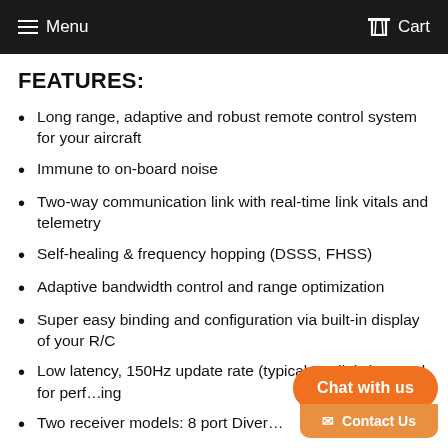Menu  Cart
FEATURES:
Long range, adaptive and robust remote control system for your aircraft
Immune to on-board noise
Two-way communication link with real-time link vitals and telemetry
Self-healing & frequency hopping (DSSS, FHSS)
Adaptive bandwidth control and range optimization
Super easy binding and configuration via built-in display of your R/C
Low latency, 150Hz update rate (... typical RC links) control for perf... ing
Two receiver models: 8 port Diver...